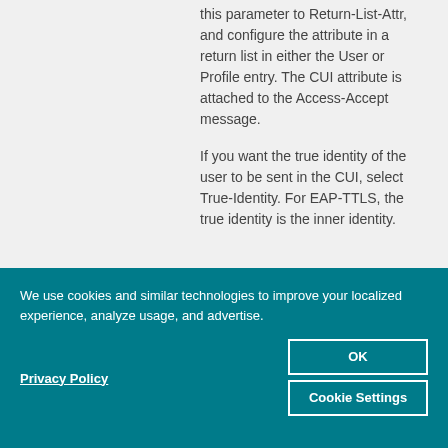this parameter to Return-List-Attr, and configure the attribute in a return list in either the User or Profile entry. The CUI attribute is attached to the Access-Accept message.
If you want the true identity of the user to be sent in the CUI, select True-Identity. For EAP-TTLS, the true identity is the inner identity.
We use cookies and similar technologies to improve your localized experience, analyze usage, and advertise.
Privacy Policy
OK
Cookie Settings